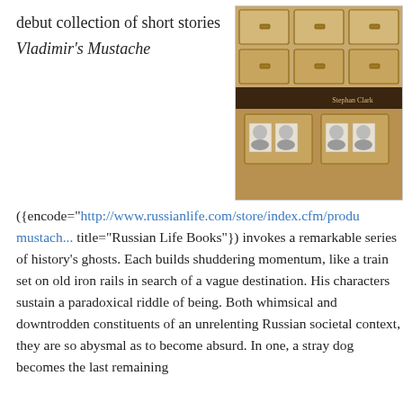debut collection of short stories
Vladimir's Mustache
[Figure (photo): Book cover of Vladimir's Mustache by Stephan Clark, showing wooden card catalog drawers with small face photographs visible in some compartments.]
({encode="http://www.russianlife.com/store/index.cfm/produ... mustach... title="Russian Life Books"}) invokes a remarkable series of history's ghosts. Each builds shuddering momentum, like a train set on old iron rails in search of a vague destination. His characters sustain a paradoxical riddle of being. Both whimsical and downtrodden constituents of an unrelenting Russian societal context, they are so abysmal as to become absurd. In one, a stray dog becomes the last remaining